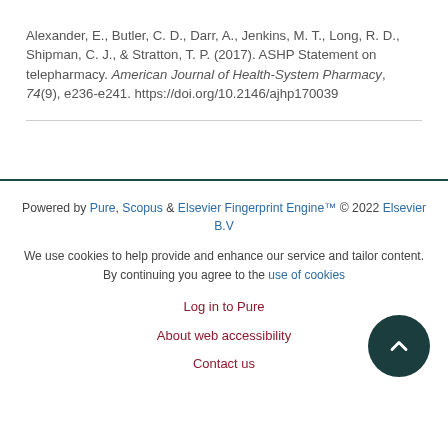Alexander, E., Butler, C. D., Darr, A., Jenkins, M. T., Long, R. D., Shipman, C. J., & Stratton, T. P. (2017). ASHP Statement on telepharmacy. American Journal of Health-System Pharmacy, 74(9), e236-e241. https://doi.org/10.2146/ajhp170039
Powered by Pure, Scopus & Elsevier Fingerprint Engine™ © 2022 Elsevier B.V

We use cookies to help provide and enhance our service and tailor content. By continuing you agree to the use of cookies

Log in to Pure

About web accessibility

Contact us